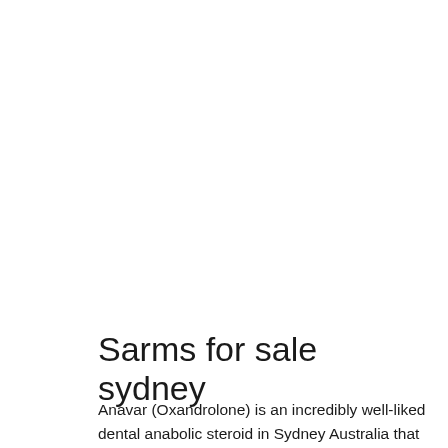Sarms for sale sydney
Anavar (Oxandrolone) is an incredibly well-liked dental anabolic steroid in Sydney Australia that is populared as a moderate compound with marginal side effects in contrast to other such as